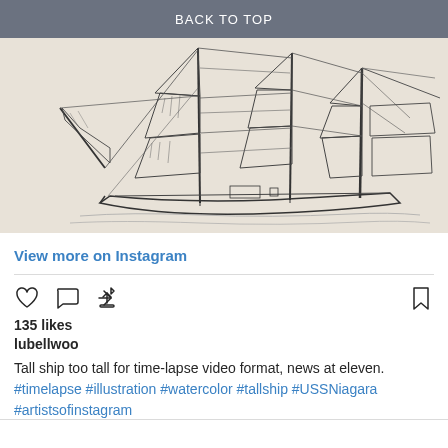BACK TO TOP
[Figure (illustration): Line drawing/sketch of a tall sailing ship (USS Niagara) with masts, sails, and rigging on a beige/cream background]
View more on Instagram
135 likes
lubellwoo
Tall ship too tall for time-lapse video format, news at eleven. #timelapse #illustration #watercolor #tallship #USSNiagara #artistsofinstagram
view all 5 comments